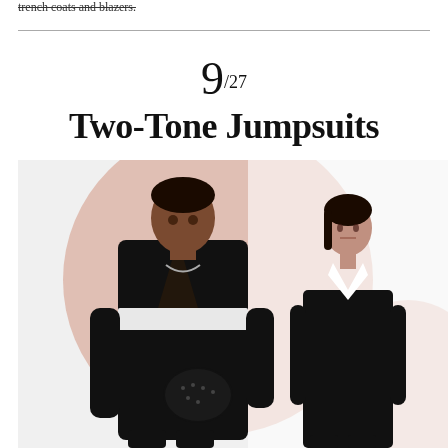trench coats and blazers.
9/27 Two-Tone Jumpsuits
[Figure (photo): Two models wearing two-tone jumpsuits. Left: a male model in a black jumpsuit with white stripe across the chest, with a black bag, against a peach/blush circular background. Right: a female model in a black halter jumpsuit with white crossover neckline detail, on a white background.]